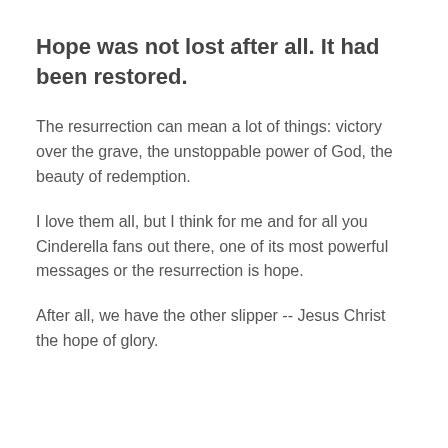Hope was not lost after all. It had been restored.
The resurrection can mean a lot of things: victory over the grave, the unstoppable power of God, the beauty of redemption.
I love them all, but I think for me and for all you Cinderella fans out there, one of its most powerful messages or the resurrection is hope.
After all, we have the other slipper -- Jesus Christ the hope of glory.